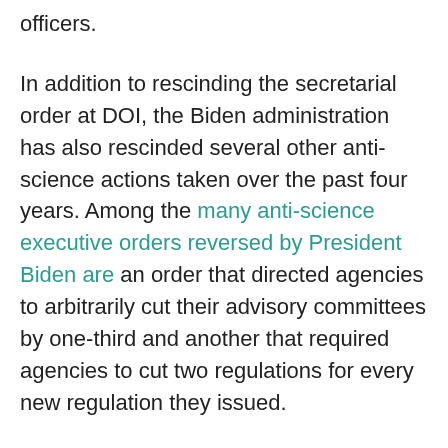officers.
In addition to rescinding the secretarial order at DOI, the Biden administration has also rescinded several other anti-science actions taken over the past four years. Among the many anti-science executive orders reversed by President Biden are an order that directed agencies to arbitrarily cut their advisory committees by one-third and another that required agencies to cut two regulations for every new regulation they issued.
There has been a lot of progress for science-based decisionmaking over the past six weeks, with more expected as qualified individuals are appointed to head science-based agencies. And yet we know through our research that every administration has politicized science-